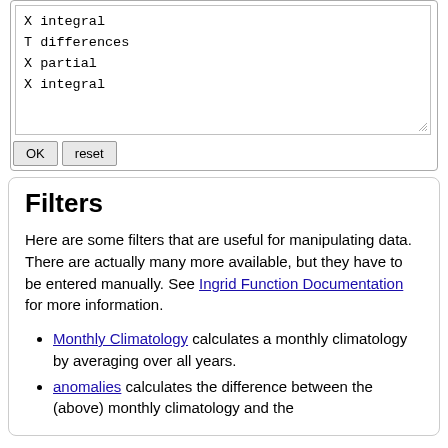X integral
T differences
X partial
X integral
OK  reset
Filters
Here are some filters that are useful for manipulating data. There are actually many more available, but they have to be entered manually. See Ingrid Function Documentation for more information.
Monthly Climatology calculates a monthly climatology by averaging over all years.
anomalies calculates the difference between the (above) monthly climatology and the